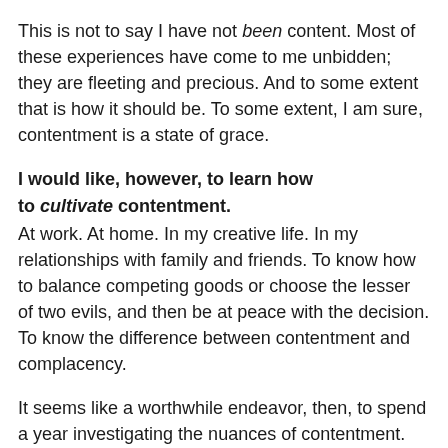This is not to say I have not been content. Most of these experiences have come to me unbidden; they are fleeting and precious. And to some extent that is how it should be. To some extent, I am sure, contentment is a state of grace.
I would like, however, to learn how to cultivate contentment.
At work. At home. In my creative life. In my relationships with family and friends. To know how to balance competing goods or choose the lesser of two evils, and then be at peace with the decision. To know the difference between contentment and complacency.
It seems like a worthwhile endeavor, then, to spend a year investigating the nuances of contentment. How we define